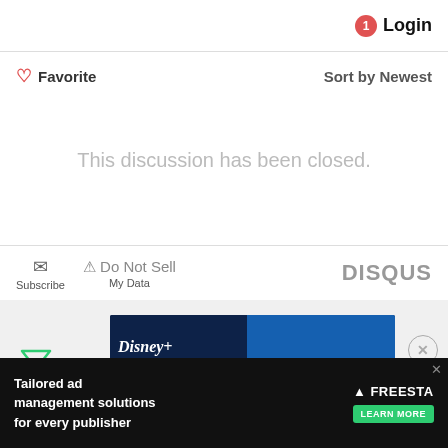[Figure (screenshot): Disqus comment widget top bar with notification badge and Login button]
Favorite   Sort by Newest
This discussion has been closed.
Subscribe   Do Not Sell My Data   DISQUS
[Figure (screenshot): Disney+ ESPN+ bundle advertisement banner: GET THE DISNEY BU[NDLE]. Incl. Hulu (ad-supported) or Hulu (No Ads). Access content from each service separ[ately]. ©2021 Disney and its related entities]
[Figure (screenshot): Freestar advertisement: Tailored ad management solutions for every publisher. LEARN MORE]